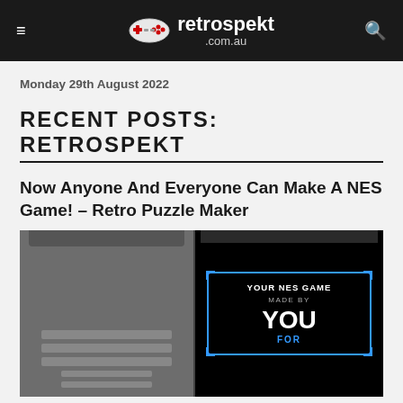retrospekt.com.au
Monday 29th August 2022
RECENT POSTS: RETROSPEKT
Now Anyone And Everyone Can Make A NES Game! – Retro Puzzle Maker
[Figure (photo): NES cartridge with label reading 'YOUR NES GAME MADE BY YOU FOR' on a dark background with blue frame, next to a grey plastic cartridge body]